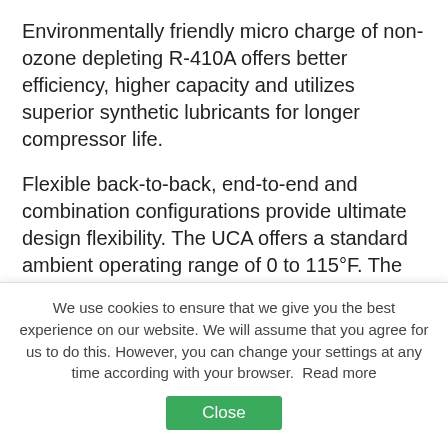Environmentally friendly micro charge of non-ozone depleting R-410A offers better efficiency, higher capacity and utilizes superior synthetic lubricants for longer compressor life.
Flexible back-to-back, end-to-end and combination configurations provide ultimate design flexibility. The UCA offers a standard ambient operating range of 0 to 115°F. The 20, 30, 50 and 70 ton modules can be mixed and matched for required bank capacity.
Integrated CoolLogic Control System each module has an independent control panel and simple two-conductor shielded daisy chain connection from the Master Panel to the modules ensuring ultimate
We use cookies to ensure that we give you the best experience on our website. We will assume that you agree for us to do this. However, you can change your settings at any time according with your browser.  Read more
Close